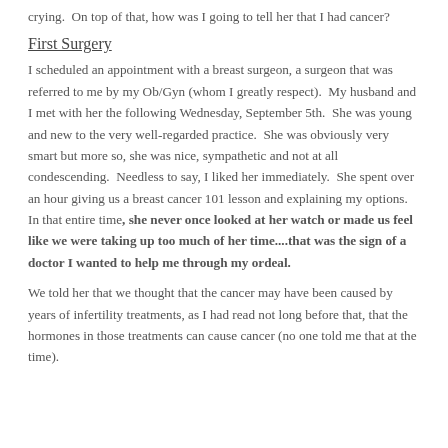crying.  On top of that, how was I going to tell her that I had cancer?
First Surgery
I scheduled an appointment with a breast surgeon, a surgeon that was referred to me by my Ob/Gyn (whom I greatly respect).  My husband and I met with her the following Wednesday, September 5th.  She was young and new to the very well-regarded practice.  She was obviously very smart but more so, she was nice, sympathetic and not at all condescending.  Needless to say, I liked her immediately.  She spent over an hour giving us a breast cancer 101 lesson and explaining my options.  In that entire time, she never once looked at her watch or made us feel like we were taking up too much of her time....that was the sign of a doctor I wanted to help me through my ordeal.
We told her that we thought that the cancer may have been caused by years of infertility treatments, as I had read not long before that, that the hormones in those treatments can cause cancer (no one told me that at the time).